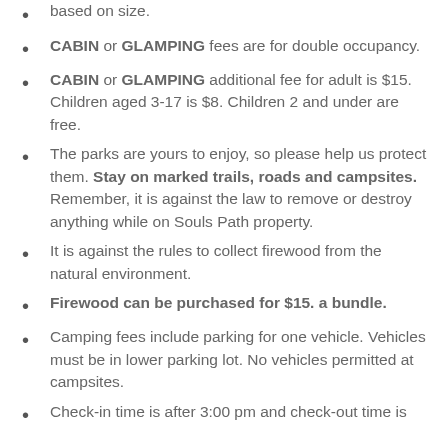based on size.
CABIN or GLAMPING fees are for double occupancy.
CABIN or GLAMPING additional fee for adult is $15. Children aged 3-17 is $8. Children 2 and under are free.
The parks are yours to enjoy, so please help us protect them. Stay on marked trails, roads and campsites. Remember, it is against the law to remove or destroy anything while on Souls Path property.
It is against the rules to collect firewood from the natural environment.
Firewood can be purchased for $15. a bundle.
Camping fees include parking for one vehicle. Vehicles must be in lower parking lot. No vehicles permitted at campsites.
Check-in time is after 3:00 pm and check-out time is